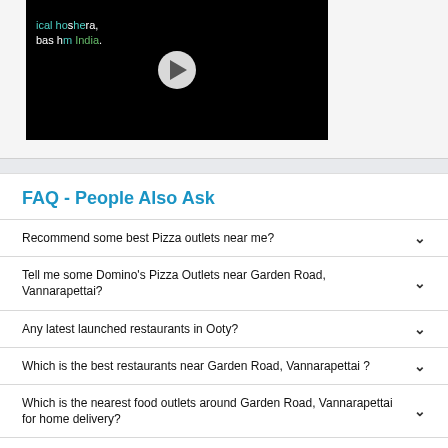[Figure (screenshot): Video player thumbnail with dark background showing partial text and a play button]
FAQ - People Also Ask
Recommend some best Pizza outlets near me?
Tell me some Domino's Pizza Outlets near Garden Road, Vannarapettai?
Any latest launched restaurants in Ooty?
Which is the best restaurants near Garden Road, Vannarapettai ?
Which is the nearest food outlets around Garden Road, Vannarapettai for home delivery?
Suggest Some Best Nearby Pizza Outlets in Garden Road, Vannarapettai?
How can we contact Domino's store around Garden Road,